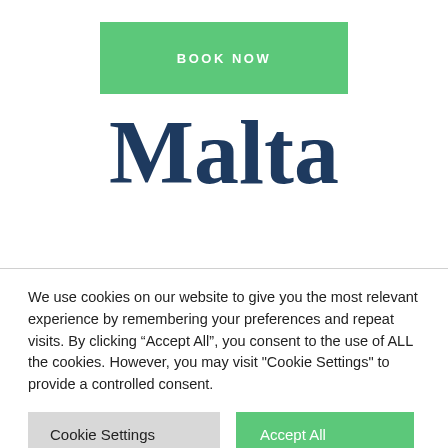[Figure (other): Green 'BOOK NOW' button/banner]
Malta
We use cookies on our website to give you the most relevant experience by remembering your preferences and repeat visits. By clicking “Accept All”, you consent to the use of ALL the cookies. However, you may visit "Cookie Settings" to provide a controlled consent.
[Figure (other): Two buttons: 'Cookie Settings' (gray) and 'Accept All' (green)]